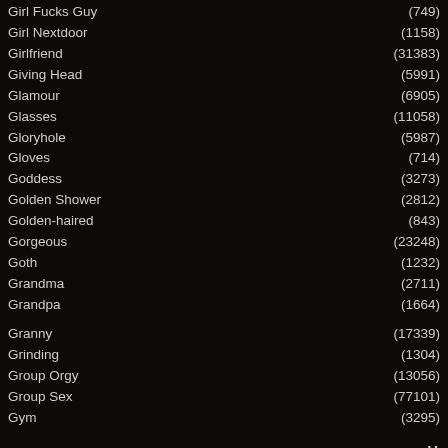Girl Fucks Guy (749)
Girl Nextdoor (1158)
Girlfriend (31383)
Giving Head (5991)
Glamour (6905)
Glasses (11058)
Gloryhole (5987)
Gloves (714)
Goddess (3273)
Golden Shower (2812)
Golden-haired (843)
Gorgeous (23248)
Goth (1232)
Grandma (2711)
Grandpa (1664)
Granny (17339)
Grinding (1304)
Group Orgy (13056)
Group Sex (77101)
Gym (3295)
H
HD (395135)
Hair Pulling (807)
Hairless (903)
Hairy (57478)
Handjob (67239)
Handjob Compilation (638)
Happy Ending (635)
Hard Fuck (53901)
Hardcore (409705)